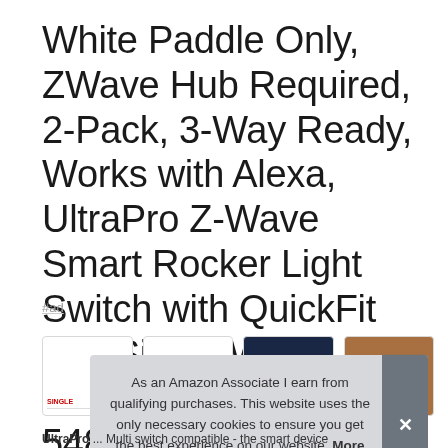White Paddle Only, ZWave Hub Required, 2-Pack, 3-Way Ready, Works with Alexa, UltraPro Z-Wave Smart Rocker Light Switch with QuickFit and SimpleWire, Google Assistant, 54890, Repeater/Range Extender
#ad
[Figure (screenshot): Row of four product thumbnail image boxes; first two are white/empty with small red label and divider line; third shows dark navy background; fourth shows brown background]
As an Amazon Associate I earn from qualifying purchases. This website uses the only necessary cookies to ensure you get the best experience on our website. More information
UltraPro ... Multi switch compatible - the smart device